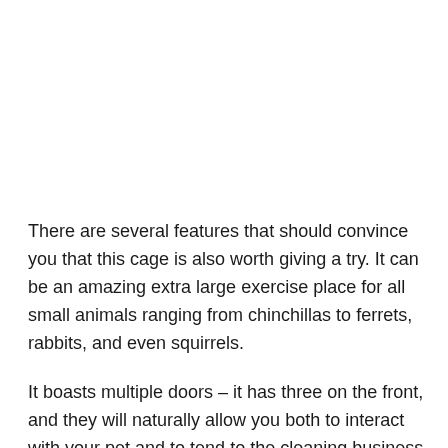There are several features that should convince you that this cage is also worth giving a try. It can be an amazing extra large exercise place for all small animals ranging from chinchillas to ferrets, rabbits, and even squirrels.
It boasts multiple doors – it has three on the front, and they will naturally allow you both to interact with your pet and to tend to the cleaning business that should be done regularly.